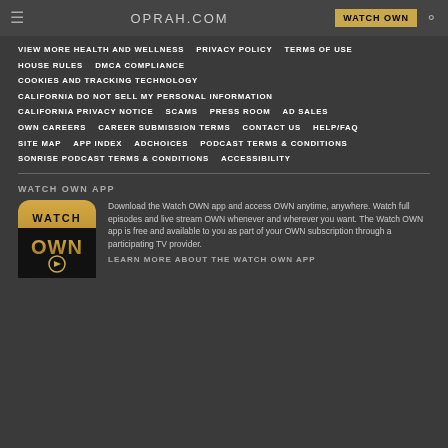OPRAH.COM  WATCH OWN
VIEW MORE HEALTH AND WELLNESS  PRIVACY POLICY  TERMS OF USE
HOUSE RULES  DMCA COMPLIANCE
COOKIES AND TRACKING TECHNOLOGY
CALIFORNIA DO NOT SELL MY PERSONAL INFORMATION
CALIFORNIA PRIVACY NOTICE  SCAMS  PRESS ROOM  AD SALES
OWN CAREERS  CAREER SUBMISSION TERMS  CONTACT US  HELP/FAQ
SITE MAP  APP INDEX  ADCHOICES  PODCAST TERMS & CONDITIONS
SONRISE PODCAST TERMS & CONDITIONS  ACCESSIBILITY
WATCH OWN APP
[Figure (logo): Watch OWN app icon — gold and black logo with WATCH OWN text and a play button]
Download the Watch OWN app and access OWN anytime, anywhere. Watch full episodes and live stream OWN whenever and wherever you want. The Watch OWN app is free and available to you as part of your OWN subscription through a participating TV provider.
LEARN MORE ABOUT THE WATCH OWN APP